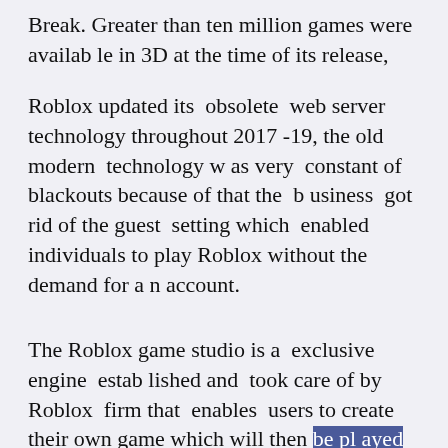Break. Greater than ten million games were available in 3D at the time of its release,
Roblox updated its obsolete web server technology throughout 2017 -19, the old modern technology was very constant of blackouts because of that the business got rid of the guest setting which enabled individuals to play Roblox without the demand for an account.
The Roblox game studio is a exclusive engine established and took care of by Roblox firm that enables users to create their own game which will then be played by various other customers. every year 20 million games are generated using this and also the majority of the programmers being young kids. using the programs language Lua games are coded in an o